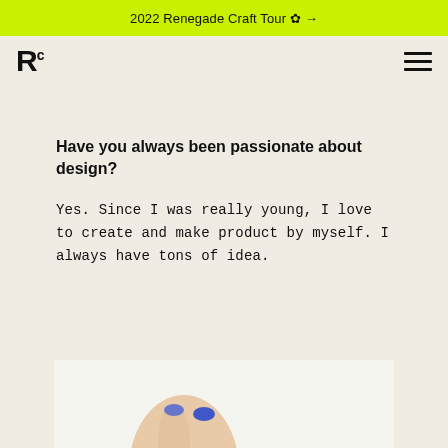2022 Renegade Craft Tour ✿ →
[Figure (logo): Renegade Craft logo: RC letters in bold black]
Have you always been passionate about design?
Yes. Since I was really young, I love to create and make product by myself. I always have tons of idea.
[Figure (photo): Hand holding a small blue object, partially visible at bottom of page]